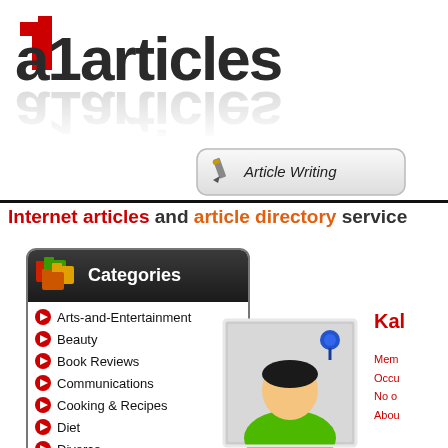[Figure (logo): a1articles logo with red '1' and bold dark grey 'a1articles' text with reflection]
[Figure (illustration): Article Writing button with pencil icon]
Internet articles and article directory service
Categories
Arts-and-Entertainment
Beauty
Book Reviews
Communications
Cooking & Recipes
Diet
Divorce
Environment
Family
Fertility
[Figure (illustration): Generic male avatar/profile photo pinned with a blue thumbtack on a light gray background]
Kal
Mem
Occu
No o
Abou